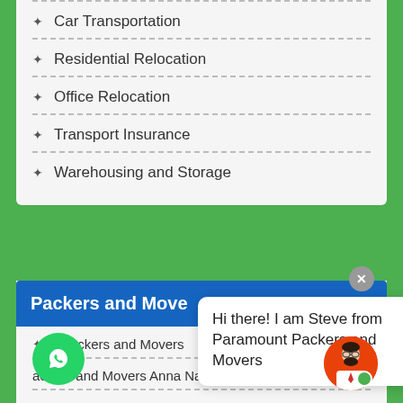Car Transportation
Residential Relocation
Office Relocation
Transport Insurance
Warehousing and Storage
Packers and Movers
Packers and Movers
Packers and Movers Anna Nagar
Packers and Movers Chrompet
Hi there! I am Steve from Paramount Packers and Movers